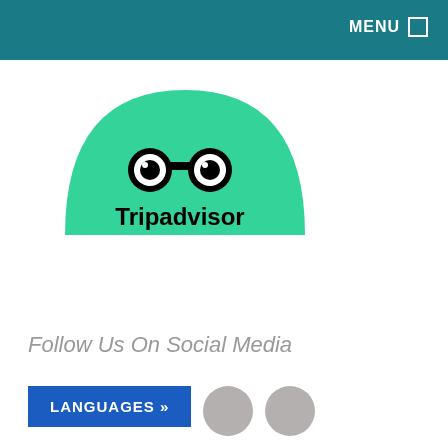MENU
[Figure (logo): Tripadvisor logo: green semicircle with owl eyes icon and 'Tripadvisor' text in black]
Follow Us On Social Media
LANGUAGES »